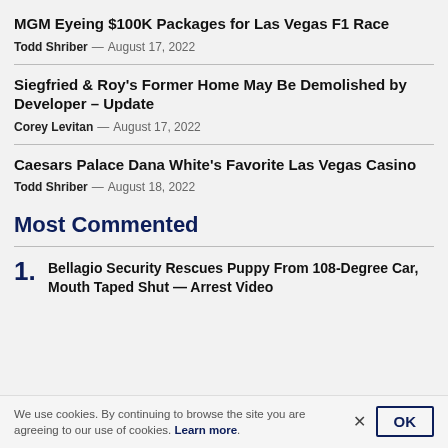MGM Eyeing $100K Packages for Las Vegas F1 Race
Todd Shriber — August 17, 2022
Siegfried & Roy's Former Home May Be Demolished by Developer – Update
Corey Levitan — August 17, 2022
Caesars Palace Dana White's Favorite Las Vegas Casino
Todd Shriber — August 18, 2022
Most Commented
1. Bellagio Security Rescues Puppy From 108-Degree Car, Mouth Taped Shut — Arrest Video
We use cookies. By continuing to browse the site you are agreeing to our use of cookies. Learn more.